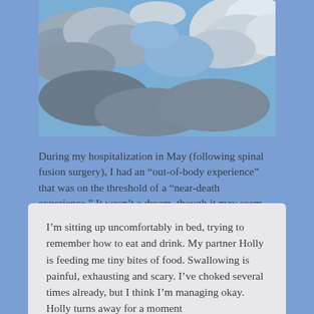[Figure (photo): Sky with clouds — blue sky with grey-white cumulus clouds]
During my hospitalization in May (following spinal fusion surgery), I had an “out-of-body experience” that was on the threshold of a “near-death experience.” It wasn’t a dream, though it may seem somewhat dream-like as I describe it:
I’m sitting up uncomfortably in bed, trying to remember how to eat and drink. My partner Holly is feeding me tiny bites of food. Swallowing is painful, exhausting and scary. I’ve choked several times already, but I think I’m managing okay. Holly turns away for a moment